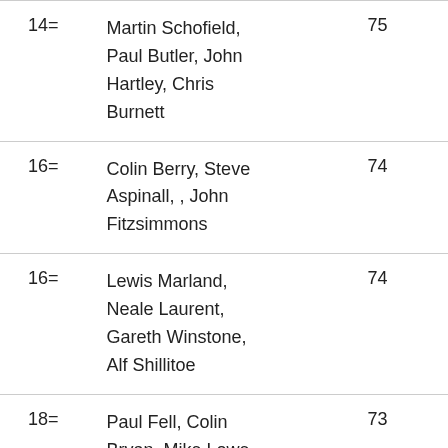| Rank | Names | Score |
| --- | --- | --- |
| 14= | Martin Schofield, Paul Butler, John Hartley, Chris Burnett | 75 |
| 16= | Colin Berry, Steve Aspinall, , John Fitzsimmons | 74 |
| 16= | Lewis Marland, Neale Laurent, Gareth Winstone, Alf Shillitoe | 74 |
| 18= | Paul Fell, Colin Bryan, Mike Lowe, | 73 |